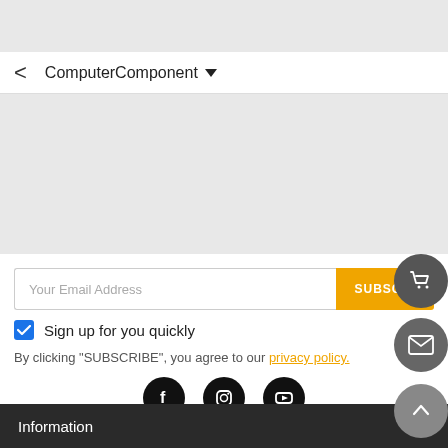ComputerComponent
[Figure (screenshot): Gray placeholder area for content/image]
Your Email Address
SUBSCRIBE
Sign up for you quickly
By clicking "SUBSCRIBE", you agree to our privacy policy.
[Figure (illustration): Social media icons: Facebook, Instagram, YouTube]
Information